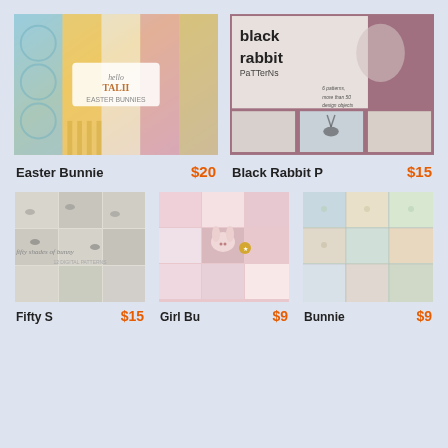[Figure (illustration): Easter Bunnies digital paper pack product image with colorful patterns]
Easter Bunnie
$20
[Figure (illustration): Black Rabbit Patterns product image with rabbit designs]
Black Rabbit P
$15
[Figure (illustration): Fifty Shades of Bunny pattern product image]
Fifty S
$15
[Figure (illustration): Girl Bunny digital paper pack product image]
Girl Bu
$9
[Figure (illustration): Bunnies pattern product image with pastel colors]
Bunnie
$9